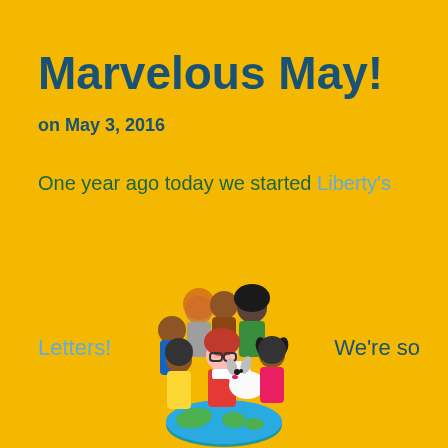Marvelous May!
on May 3, 2016
One year ago today we started Liberty's
[Figure (illustration): Cartoon illustration of diverse children characters standing on top of a globe/Earth, with a girl with red hair and glasses in the center, a white fluffy dog, and several other children of different ethnicities around them.]
Letters!
We're so